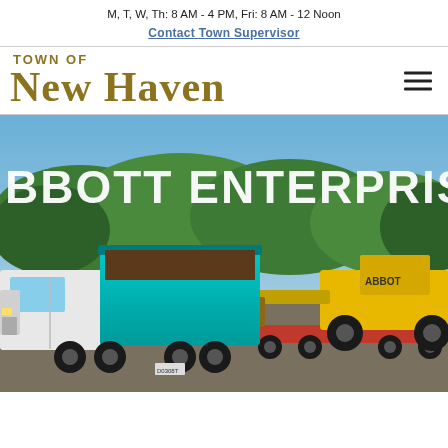M, T, W, Th: 8 AM - 4 PM, Fri: 8 AM - 12 Noon
Contact Town Supervisor
TOWN OF NEW HAVEN
[Figure (photo): Photograph of Abbott Enterprises equipment including a white and teal dump truck and a yellow front loader on a flatbed trailer, parked in a lot with trees in the background. Text 'BBOTT ENTERPRISE' visible in white across the top of the image.]